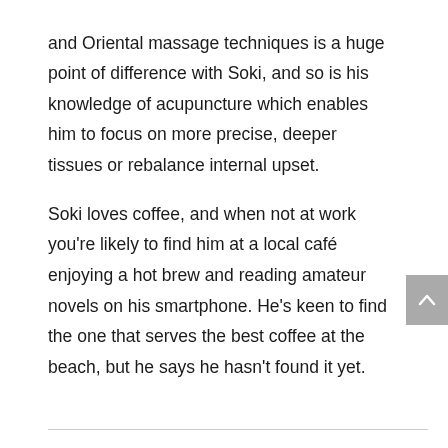and Oriental massage techniques is a huge point of difference with Soki, and so is his knowledge of acupuncture which enables him to focus on more precise, deeper tissues or rebalance internal upset.
Soki loves coffee, and when not at work you're likely to find him at a local café enjoying a hot brew and reading amateur novels on his smartphone. He's keen to find the one that serves the best coffee at the beach, but he says he hasn't found it yet.